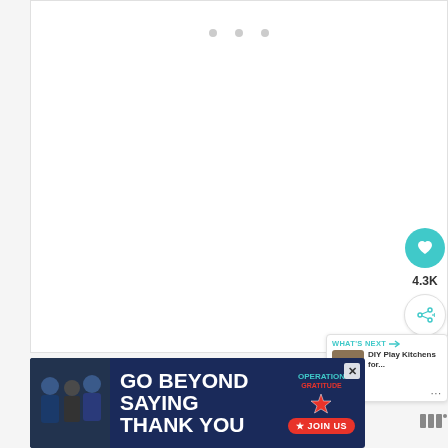[Figure (screenshot): White content area with three grey navigation dots at top center, representing a loading or empty content page from a website]
[Figure (infographic): Social panel with teal heart button showing 4.3K likes and a share button]
[Figure (infographic): WHAT'S NEXT panel showing DIY Play Kitchens for... with a thumbnail image]
[Figure (photo): Advertisement banner: GO BEYOND SAYING THANK YOU - Operation Gratitude JOIN US with military people photo and patriotic design]